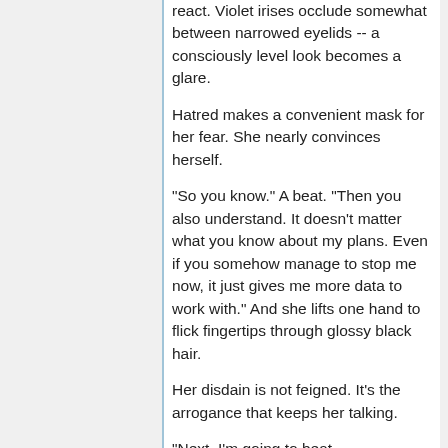react. Violet irises occlude somewhat between narrowed eyelids -- a consciously level look becomes a glare.
Hatred makes a convenient mask for her fear. She nearly convinces herself.
"So you know." A beat. "Then you also understand. It doesn't matter what you know about my plans. Even if you somehow manage to stop me now, it just gives me more data to work with." And she lifts one hand to flick fingertips through glossy black hair.
Her disdain is not feigned. It's the arrogance that keeps her talking.
"Next, I'm going to beat Walpurgisnacht, and deny you Madoka Kaname's soul once and for all. I'll use time itself to take it back from you if I have to, and I won't stop until you lose."